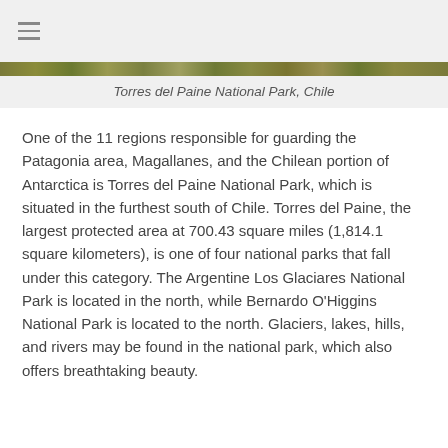≡
[Figure (photo): Narrow horizontal strip showing a nature/landscape scene from Torres del Paine National Park, Chile]
Torres del Paine National Park, Chile
One of the 11 regions responsible for guarding the Patagonia area, Magallanes, and the Chilean portion of Antarctica is Torres del Paine National Park, which is situated in the furthest south of Chile. Torres del Paine, the largest protected area at 700.43 square miles (1,814.1 square kilometers), is one of four national parks that fall under this category. The Argentine Los Glaciares National Park is located in the north, while Bernardo O'Higgins National Park is located to the north. Glaciers, lakes, hills, and rivers may be found in the national park, which also offers breathtaking beauty.